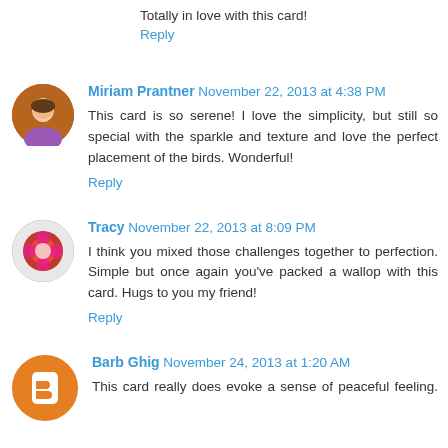Totally in love with this card!
Reply
Miriam Prantner November 22, 2013 at 4:38 PM
This card is so serene! I love the simplicity, but still so special with the sparkle and texture and love the perfect placement of the birds. Wonderful!
Reply
Tracy November 22, 2013 at 8:09 PM
I think you mixed those challenges together to perfection. Simple but once again you've packed a wallop with this card. Hugs to you my friend!
Reply
Barb Ghig November 24, 2013 at 1:20 AM
This card really does evoke a sense of peaceful feeling. So it's b...